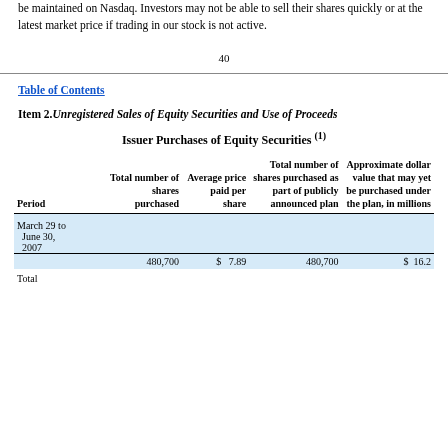be maintained on Nasdaq. Investors may not be able to sell their shares quickly or at the latest market price if trading in our stock is not active.
40
Table of Contents
Item 2. Unregistered Sales of Equity Securities and Use of Proceeds
Issuer Purchases of Equity Securities (1)
| Period | Total number of shares purchased | Average price paid per share | Total number of shares purchased as part of publicly announced plan | Approximate dollar value that may yet be purchased under the plan, in millions |
| --- | --- | --- | --- | --- |
| March 29 to June 30, 2007 | 480,700 | $ 7.89 | 480,700 | $ 16.2 |
| Total |  |  |  |  |